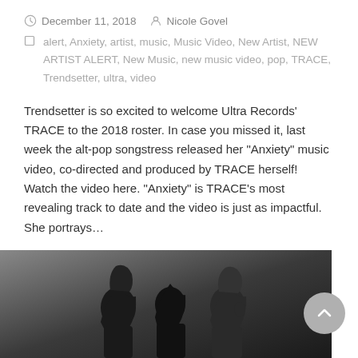December 11, 2018  Nicole Govel
alert, Anxiety, artist, music, Music Video, New Artist, NEW ARTIST ALERT, New Music, new music video, pop, TRACE, Trendsetter, ultra, video
Trendsetter is so excited to welcome Ultra Records’ TRACE to the 2018 roster. In case you missed it, last week the alt-pop songstress released her “Anxiety” music video, co-directed and produced by TRACE herself!  Watch the video here. “Anxiety” is TRACE’s most revealing track to date and the video is just as impactful. She portrays…
READ MORE
[Figure (photo): Black and white photo showing three people, partially visible, with dark background. Two appear to have long hair on the sides and one person in the middle.]